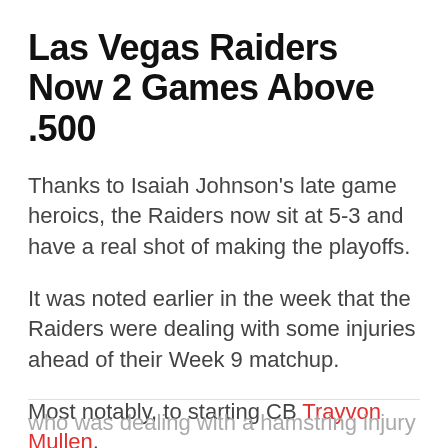Las Vegas Raiders Now 2 Games Above .500
Thanks to Isaiah Johnson's late game heroics, the Raiders now sit at 5-3 and have a real shot of making the playoffs.
It was noted earlier in the week that the Raiders were dealing with some injuries ahead of their Week 9 matchup.
Most notably, to starting CB Trayvon Mullen, who was dealing with a hamstring injury